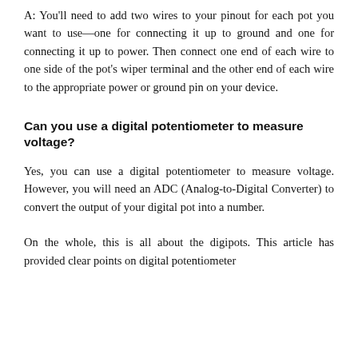A: You'll need to add two wires to your pinout for each pot you want to use—one for connecting it up to ground and one for connecting it up to power. Then connect one end of each wire to one side of the pot's wiper terminal and the other end of each wire to the appropriate power or ground pin on your device.
Can you use a digital potentiometer to measure voltage?
Yes, you can use a digital potentiometer to measure voltage. However, you will need an ADC (Analog-to-Digital Converter) to convert the output of your digital pot into a number.
On the whole, this is all about the digipots. This article has provided clear points on digital potentiometer